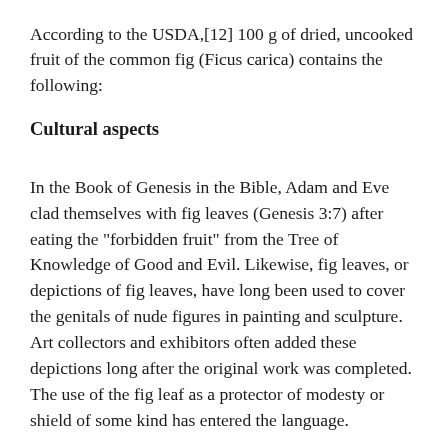According to the USDA,[12] 100 g of dried, uncooked fruit of the common fig (Ficus carica) contains the following:
Cultural aspects
In the Book of Genesis in the Bible, Adam and Eve clad themselves with fig leaves (Genesis 3:7) after eating the "forbidden fruit" from the Tree of Knowledge of Good and Evil. Likewise, fig leaves, or depictions of fig leaves, have long been used to cover the genitals of nude figures in painting and sculpture. Art collectors and exhibitors often added these depictions long after the original work was completed. The use of the fig leaf as a protector of modesty or shield of some kind has entered the language.
The Book of Deuteronomy specifies the fig as one of the Seven Species (Deuteronomy 8:7-8), describing the fertility of the land of Canaan. This is a set of seven plants indigenous to the Middle East that together can provide food all year round. The list is organized by date of harvest, with the fig